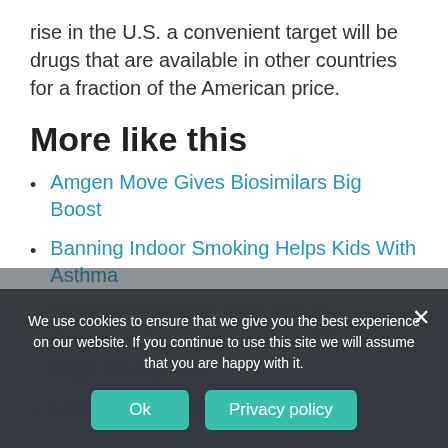rise in the U.S. a convenient target will be drugs that are available in other countries for a fraction of the American price.
More like this
Amgen Move Gives Biosimilars Big Boost
Banning Indoor Smoking Helps Kids With Asthma
SCOTUS and Manufacturing of Generics: Cry Havoc and Let Slip the Dogs of Litigation
Let the Elimination Begin
We use cookies to ensure that we give you the best experience on our website. If you continue to use this site we will assume that you are happy with it.